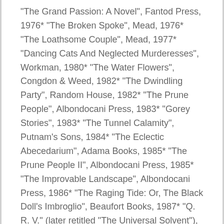"The Grand Passion: A Novel", Fantod Press, 1976* "The Broken Spoke", Mead, 1976* "The Loathsome Couple", Mead, 1977* "Dancing Cats And Neglected Murderesses", Workman, 1980* "The Water Flowers", Congdon & Weed, 1982* "The Dwindling Party", Random House, 1982* "The Prune People", Albondocani Press, 1983* "Gorey Stories", 1983* "The Tunnel Calamity", Putnam's Sons, 1984* "The Eclectic Abecedarium", Adama Books, 1985* "The Prune People II", Albondocani Press, 1985* "The Improvable Landscape", Albondocani Press, 1986* "The Raging Tide: Or, The Black Doll's Imbroglio", Beaufort Books, 1987* "Q. R. V." (later retitled "The Universal Solvent"), Anne & David Bromer, 1989* "The Stupid Joke", Fantod Press, 1990* "The Fraught Settee", Fantod Press, 1990* "The Doleful Domesticity; Another Novel", Fantod Press, 1991* "The Retrieved Locket", Fantod Press, 1994* "The